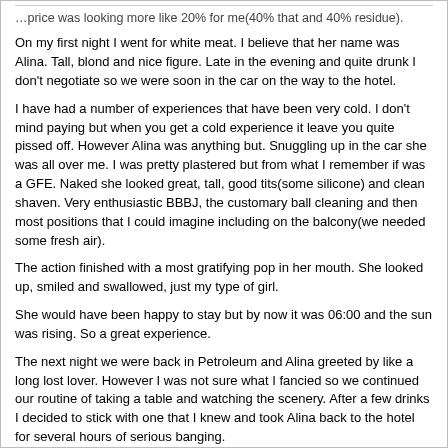…price was looking more like 20% for me(40% that and 40% residue).
On my first night I went for white meat. I believe that her name was Alina. Tall, blond and nice figure. Late in the evening and quite drunk I don't negotiate so we were soon in the car on the way to the hotel.
I have had a number of experiences that have been very cold. I don't mind paying but when you get a cold experience it leave you quite pissed off. However Alina was anything but. Snuggling up in the car she was all over me. I was pretty plastered but from what I remember if was a GFE. Naked she looked great, tall, good tits(some silicone) and clean shaven. Very enthusiastic BBBJ, the customary ball cleaning and then most positions that I could imagine including on the balcony(we needed some fresh air).
The action finished with a most gratifying pop in her mouth. She looked up, smiled and swallowed, just my type of girl.
She would have been happy to stay but by now it was 06:00 and the sun was rising. So a great experience.
The next night we were back in Petroleum and Alina greeted by like a long lost lover. However I was not sure what I fancied so we continued our routine of taking a table and watching the scenery. After a few drinks I decided to stick with one that I knew and took Alina back to the hotel for several hours of serious banging.
On our last night we had dinner at Soho but it was already late so back to Petroleum. The club was busier as it was a Saturday, but there remained a large choice of girls. For my last night in Kazakhstan I chose a very petite Asian. Unfortunately I forget her name. I wasn't until we got to the room that I realised quite how small she was. However, she provided a great and enthusiastic service for the standard $.300.- This was probably the first time that I really watched the clock as we had to leave the hotel at 04:30, so I was timing myself to allow for a shower before departing. A final, interesting scenario was passing through reception together!
To surmise, a great city with lots of lovely and enthusiastic working girls. Freebies are probably there but when you are limited on time I choose to pay.